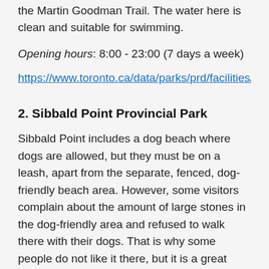the Martin Goodman Trail. The water here is clean and suitable for swimming.
Opening hours: 8:00 - 23:00 (7 days a week)
https://www.toronto.ca/data/parks/prd/facilities/compl
2. Sibbald Point Provincial Park
Sibbald Point includes a dog beach where dogs are allowed, but they must be on a leash, apart from the separate, fenced, dog-friendly beach area. However, some visitors complain about the amount of large stones in the dog-friendly area and refused to walk there with their dogs. That is why some people do not like it there, but it is a great place to spend some peaceful time with